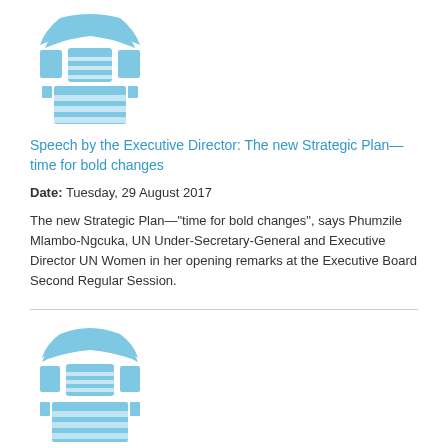[Figure (logo): UN Women logo in light blue, showing globe/laurel wreath symbol above stylized figures]
Speech by the Executive Director: The new Strategic Plan—time for bold changes
Date: Tuesday, 29 August 2017
The new Strategic Plan—"time for bold changes", says Phumzile Mlambo-Ngcuka, UN Under-Secretary-General and Executive Director UN Women in her opening remarks at the Executive Board Second Regular Session.
[Figure (logo): UN Women logo in light blue, showing globe/laurel wreath symbol above stylized figures]
Speech: "It is essential to have women in the centre of peacemaking"—Executive Director
Date: Thursday, 3 June 2017